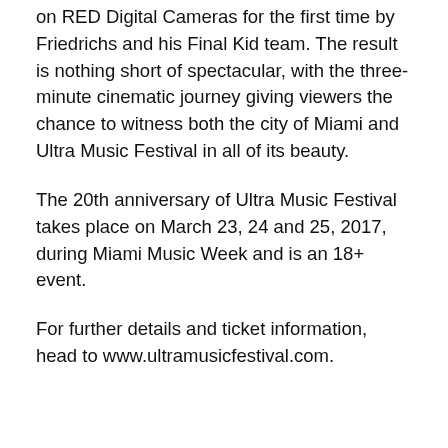on RED Digital Cameras for the first time by Friedrichs and his Final Kid team. The result is nothing short of spectacular, with the three-minute cinematic journey giving viewers the chance to witness both the city of Miami and Ultra Music Festival in all of its beauty.
The 20th anniversary of Ultra Music Festival takes place on March 23, 24 and 25, 2017, during Miami Music Week and is an 18+ event.
For further details and ticket information, head to www.ultramusicfestival.com.